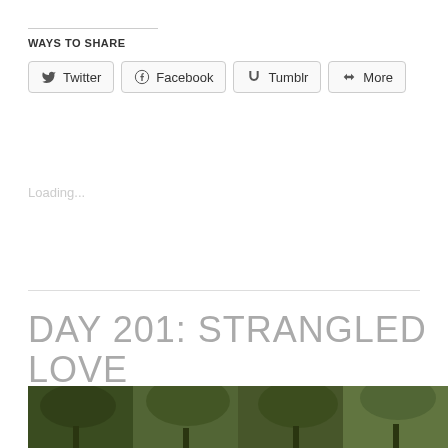WAYS TO SHARE
Twitter  Facebook  Tumblr  More
Loading...
DAY 201: STRANGLED LOVE
AUGUST 7, 2012
[Figure (photo): Forest/nature photo strip showing green trees and foliage at bottom of page]